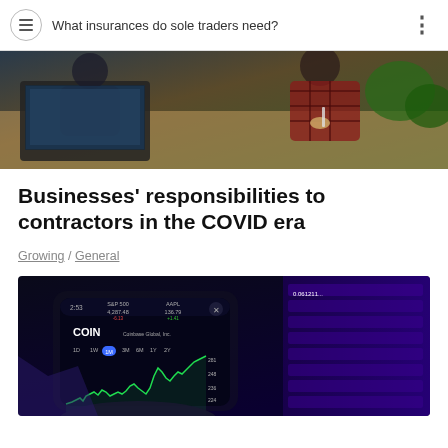What insurances do sole traders need?
[Figure (photo): Photo of people working together at a table with a laptop, shot from above with plants visible]
Businesses' responsibilities to contractors in the COVID era
Growing / General
[Figure (photo): Photo of a hand holding a smartphone displaying a stock trading app showing COIN (Coinbase Global Inc.) stock chart with green candlestick line, with financial data screens visible in the background]